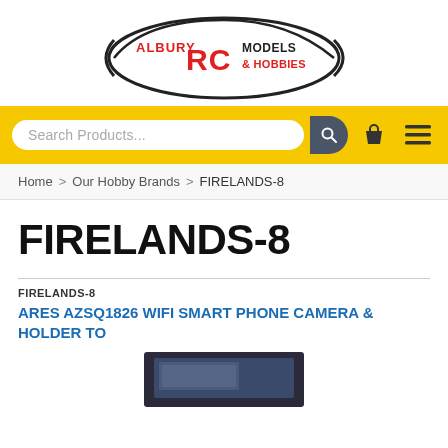[Figure (logo): Albury RC Models & Hobbies logo with stylized RC text and swoosh graphic]
[Figure (screenshot): Search bar with 'Search Products...' placeholder, search button, bag icon, and menu icon on yellow background]
Home > Our Hobby Brands > FIRELANDS-8
FIRELANDS-8
FIRELANDS-8
ARES AZSQ1826 WIFI SMART PHONE CAMERA & HOLDER TO
[Figure (photo): Partial product image of an electronics box/device at the bottom of the page]